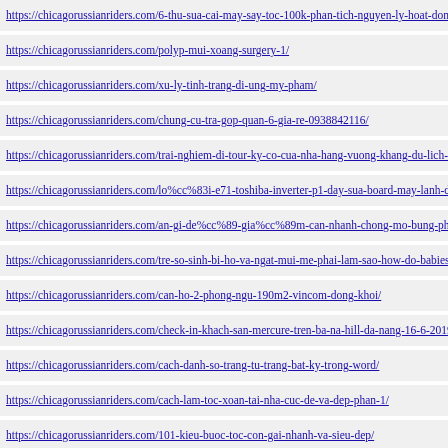https://chicagorussianriders.com/6-thu-sua-cai-may-say-toc-100k-phan-tich-nguyen-ly-hoat-dong-
https://chicagorussianriders.com/polyp-mui-xoang-surgery-1/
https://chicagorussianriders.com/xu-ly-tinh-trang-di-ung-my-pham/
https://chicagorussianriders.com/chung-cu-tra-gop-quan-6-gia-re-0938842116/
https://chicagorussianriders.com/trai-nghiem-di-tour-ky-co-cua-nha-hang-vuong-khang-du-lich-an
https://chicagorussianriders.com/lo%cc%83i-e71-toshiba-inverter-p1-day-sua-board-may-lanh-day
https://chicagorussianriders.com/an-gi-de%cc%89-gia%cc%89m-can-nhanh-chong-mo-bung-phai
https://chicagorussianriders.com/tre-so-sinh-bi-ho-va-ngat-mui-me-phai-lam-sao-how-do-babies-c
https://chicagorussianriders.com/can-ho-2-phong-ngu-190m2-vincom-dong-khoi/
https://chicagorussianriders.com/check-in-khach-san-mercure-tren-ba-na-hill-da-nang-16-6-2019/
https://chicagorussianriders.com/cach-danh-so-trang-tu-trang-bat-ky-trong-word/
https://chicagorussianriders.com/cach-lam-toc-xoan-tai-nha-cuc-de-va-dep-phan-1/
https://chicagorussianriders.com/101-kieu-buoc-toc-con-gai-nhanh-va-sieu-dep/